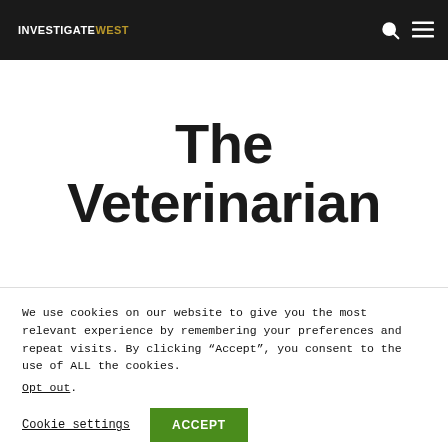INVESTIGATEWEST
The Veterinarian
We use cookies on our website to give you the most relevant experience by remembering your preferences and repeat visits. By clicking “Accept”, you consent to the use of ALL the cookies.
Opt out.
Cookie settings  ACCEPT